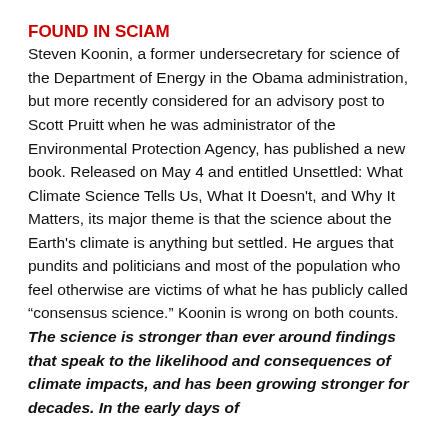FOUND IN SCIAM
Steven Koonin, a former undersecretary for science of the Department of Energy in the Obama administration, but more recently considered for an advisory post to Scott Pruitt when he was administrator of the Environmental Protection Agency, has published a new book. Released on May 4 and entitled Unsettled: What Climate Science Tells Us, What It Doesn't, and Why It Matters, its major theme is that the science about the Earth's climate is anything but settled. He argues that pundits and politicians and most of the population who feel otherwise are victims of what he has publicly called “consensus science.” Koonin is wrong on both counts. The science is stronger than ever around findings that speak to the likelihood and consequences of climate impacts, and has been growing stronger for decades. In the early days of